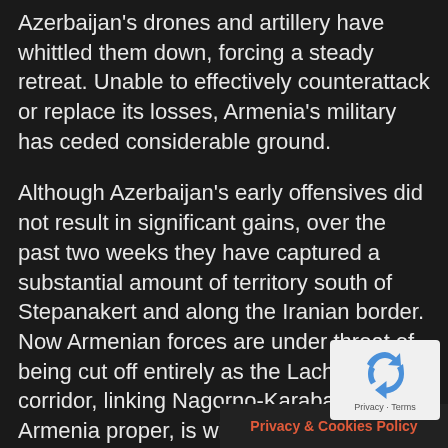Azerbaijan's drones and artillery have whittled them down, forcing a steady retreat. Unable to effectively counterattack or replace its losses, Armenia's military has ceded considerable ground.
Although Azerbaijan's early offensives did not result in significant gains, over the past two weeks they have captured a substantial amount of territory south of Stepanakert and along the Iranian border. Now Armenian forces are under threat of being cut off entirely as the Lachin corridor, linking Nagorno-Karabakh to Armenia proper, is within range of Azerbaijani artillery. It is possible that Azerbaijan will capture this critical supply line within days, or at least begin to interdict it. At the time of this writing Armenian forces are trying to stabilize the battlefield and repel further Azerbaijani advances towards Lachin. The battle line is seesawing as fighting intensifies in
Privacy & Cookies Policy